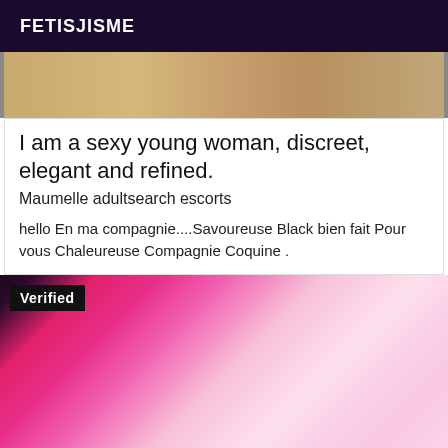FETISJISME
[Figure (photo): Partial blurred photo of a person, skin tones, top portion of listing image]
I am a sexy young woman, discreet, elegant and refined.
Maumelle adultsearch escorts
hello En ma compagnie....Savoureuse Black bien fait Pour vous Chaleureuse Compagnie Coquine .
[Figure (photo): Close-up blurred photo showing pink/magenta lingerie against skin tones, with a 'Verified' badge overlay in the top left corner]